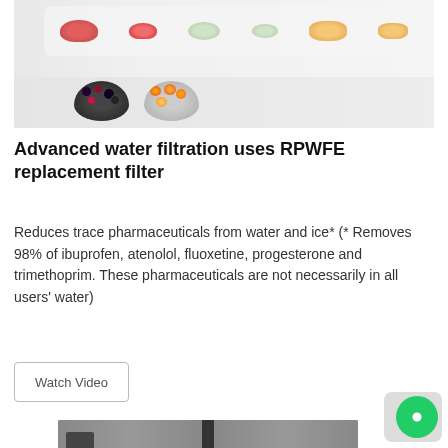[Figure (photo): Open refrigerator shelf showing fruits including strawberries, melon chunks, and bowls of mixed berries and apricots]
Advanced water filtration uses RPWFE replacement filter
Reduces trace pharmaceuticals from water and ice* (* Removes 98% of ibuprofen, atenolol, fluoxetine, progesterone and trimethoprim. These pharmaceuticals are not necessarily in all users' water)
[Figure (other): Watch Video button with border]
[Figure (photo): Bottom portion of a stainless steel refrigerator with French doors]